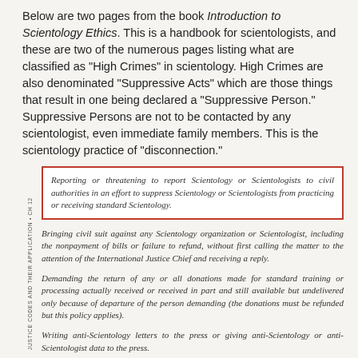Below are two pages from the book Introduction to Scientology Ethics. This is a handbook for scientologists, and these are two of the numerous pages listing what are classified as "High Crimes" in scientology. High Crimes are also denominated "Suppressive Acts" which are those things that result in one being declared a "Suppressive Person." Suppressive Persons are not to be contacted by any scientologist, even immediate family members. This is the scientology practice of "disconnection."
[Figure (other): Scanned book excerpt showing list items from 'Introduction to Scientology Ethics' with sidebar text 'JUSTICE CODES AND THEIR APPLICATION • CH 12'. First item is highlighted in a red border box.]
Reporting or threatening to report Scientology or Scientologists to civil authorities in an effort to suppress Scientology or Scientologists from practicing or receiving standard Scientology.
Bringing civil suit against any Scientology organization or Scientologist, including the nonpayment of bills or failure to refund, without first calling the matter to the attention of the International Justice Chief and receiving a reply.
Demanding the return of any or all donations made for standard training or processing actually received or received in part and still available but undelivered only because of departure of the person demanding (the donations must be refunded but this policy applies).
Writing anti-Scientology letters to the press or giving anti-Scientology or anti-Scientologist data to the press.
Continued membership in a divergent group...